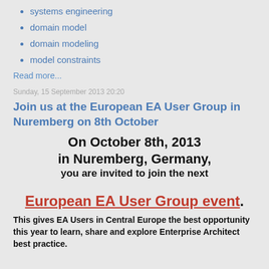systems engineering
domain model
domain modeling
model constraints
Read more...
Sunday, 15 September 2013 20:20
Join us at the European EA User Group in Nuremberg on 8th October
On October 8th, 2013
in Nuremberg, Germany,
you are invited to join the next
European EA User Group event.
This gives EA Users in Central Europe the best opportunity this year to learn, share and explore Enterprise Architect best practice.